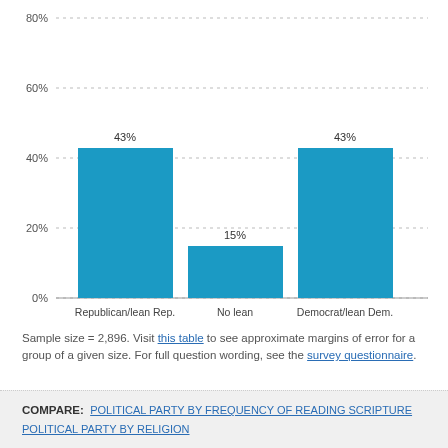[Figure (bar-chart): ]
Sample size = 2,896. Visit this table to see approximate margins of error for a group of a given size. For full question wording, see the survey questionnaire.
COMPARE: POLITICAL PARTY BY FREQUENCY OF READING SCRIPTURE   POLITICAL PARTY BY RELIGION